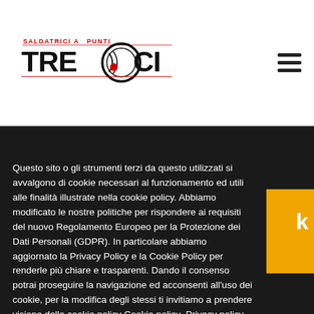[Figure (logo): TRECCI SALDATRICI A PUNTI logo with circular graphic element and red dot]
Questo sito o gli strumenti terzi da questo utilizzati si avvalgono di cookie necessari al funzionamento ed utili alle finalità illustrate nella cookie policy. Abbiamo modificato le nostre politiche per rispondere ai requisiti del nuovo Regolamento Europeo per la Protezione dei Dati Personali (GDPR). In particolare abbiamo aggiornato la Privacy Policy e la Cookie Policy per renderle più chiare e trasparenti. Dando il consenso potrai proseguire la navigazione ed acconsenti all'uso dei cookie, per la modifica degli stessi ti invitiamo a prendere visione della cookie policy Cookie policy Privacy policy
Rifiuto!
Acconsento!